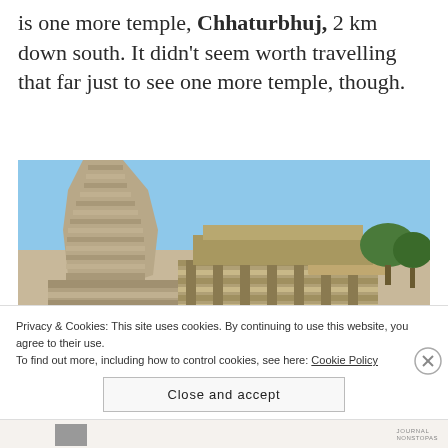is one more temple, Chhaturbhuj, 2 km down south. It didn't seem worth travelling that far just to see one more temple, though.
[Figure (photo): Photograph of the Chhaturbhuj temple, a stone Hindu temple with an ornate shikhara tower, carved walls, and surrounding greenery under a clear blue sky.]
Privacy & Cookies: This site uses cookies. By continuing to use this website, you agree to their use.
To find out more, including how to control cookies, see here: Cookie Policy
Close and accept